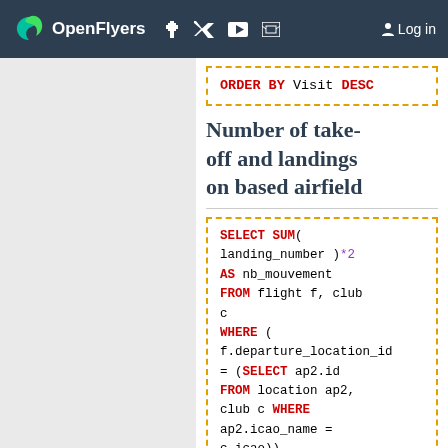OpenFlyers | Log in
ORDER BY Visit DESC
Number of take-off and landings on based airfield
SELECT SUM( landing_number )*2 AS nb_mouvement FROM flight f, club c WHERE ( f.departure_location_id = (SELECT ap2.id FROM location ap2, club c WHERE ap2.icao_name = c.icao)) AND (f.arrival_location_id = (SELECT ap2.id FROM location ap2,